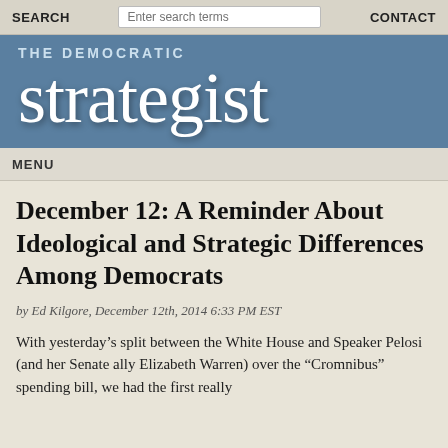SEARCH  [Enter search terms]  CONTACT
[Figure (logo): The Democratic Strategist website banner with blue background, subtitle 'THE DEMOCRATIC' above large serif text 'strategist']
MENU
December 12: A Reminder About Ideological and Strategic Differences Among Democrats
by Ed Kilgore, December 12th, 2014 6:33 PM EST
With yesterday's split between the White House and Speaker Pelosi (and her Senate ally Elizabeth Warren) over the "Cromnibus" spending bill, we had the first really